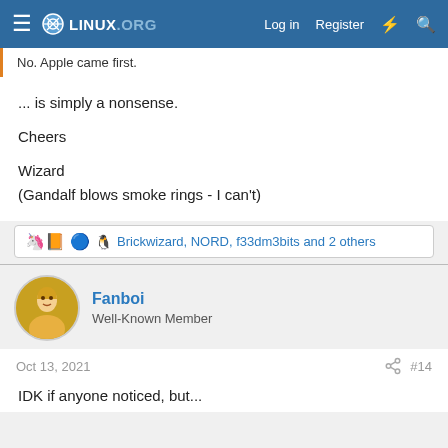LINUX.ORG — Log in   Register
No. Apple came first.
... is simply a nonsense.

Cheers

Wizard
(Gandalf blows smoke rings - I can't)
Brickwizard, NORD, f33dm3bits and 2 others
Fanboi
Well-Known Member
Oct 13, 2021   #14
IDK if anyone noticed, but...